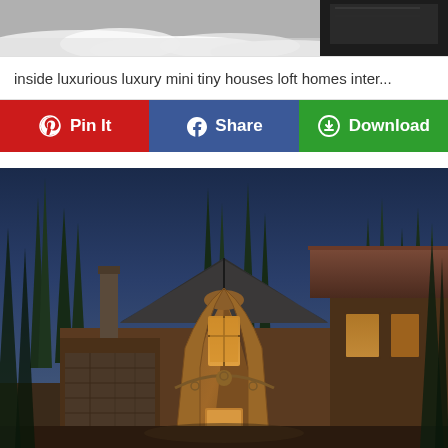[Figure (photo): Cropped top portion of an image showing a snowy/furry white surface at bottom and a dark object in the upper right corner]
inside luxurious luxury mini tiny houses loft homes inter...
[Figure (other): UI button row with three buttons: Pin It (red, Pinterest), Share (blue, Facebook), Download (green)]
[Figure (photo): Exterior of a large luxury log/timber frame mountain lodge home at dusk, surrounded by tall pine trees, with dramatic arched wooden beams, stone and wood siding, copper/dark metal roof, large windows glowing with warm interior light]